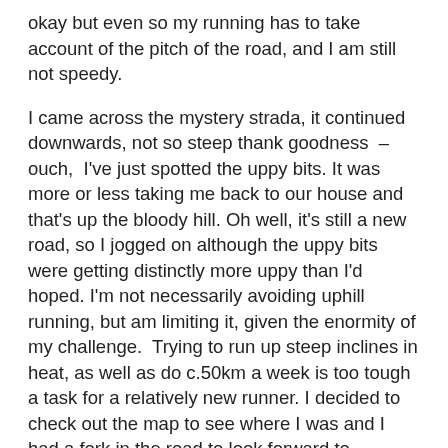okay but even so my running has to take account of the pitch of the road, and I am still not speedy.

I came across the mystery strada, it continued downwards, not so steep thank goodness  – ouch,  I've just spotted the uppy bits. It was more or less taking me back to our house and that's up the bloody hill. Oh well, it's still a new road, so I jogged on although the uppy bits were getting distinctly more uppy than I'd hoped. I'm not necessarily avoiding uphill running, but am limiting it, given the enormity of my challenge.  Trying to run up steep inclines in heat, as well as do c.50km a week is too tough a task for a relatively new runner. I decided to check out the map to see where I was and I had a fork in the road to look forward to – straight on or right.  The right hand fork looked okay so I took that into an even smaller unknown road, oh bum, it's got more uppy bits. This was not really going to plan